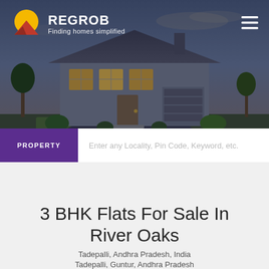[Figure (photo): Hero background photo of a house at dusk with wet driveway and landscaping]
REGROB - Finding homes simplified
PROPERTY | Enter any Locality, Pin Code, Keyword, etc.
3 BHK Flats For Sale In River Oaks
Tadepalli, Andhra Pradesh, India
Tadepalli, Guntur, Andhra Pradesh